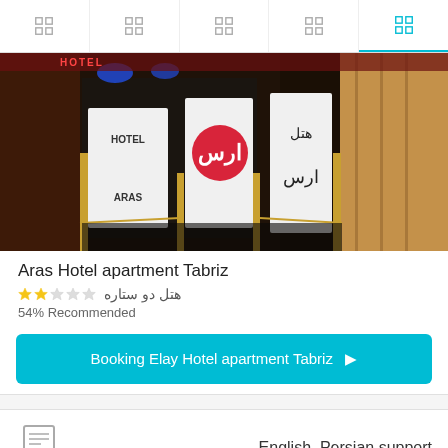Navigation icons (5 tabs)
[Figure (photo): Exterior photo of Aras Hotel apartment Tabriz at night, showing hotel signage in English and Persian (هتل ارس / HOTEL ARAS) with blue lighting and glass entrance]
Aras Hotel apartment Tabriz
هتل دو ستاره (2-star hotel rating with stars)
54% Recommended
Booking Elay Hotel apartment Tabriz →
English, Persian support